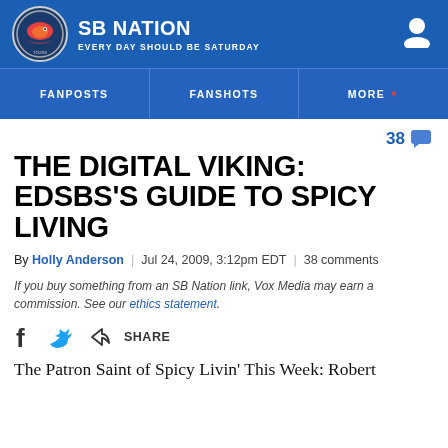SB NATION — EVERY DAY SHOULD BE SATURDAY
FANPOSTS | FANSHOTS | MORE
38 comments
THE DIGITAL VIKING: EDSBS'S GUIDE TO SPICY LIVING
By Holly Anderson | Jul 24, 2009, 3:12pm EDT | 38 comments
If you buy something from an SB Nation link, Vox Media may earn a commission. See our ethics statement.
SHARE
The Patron Saint of Spicy Livin' This Week: Robert